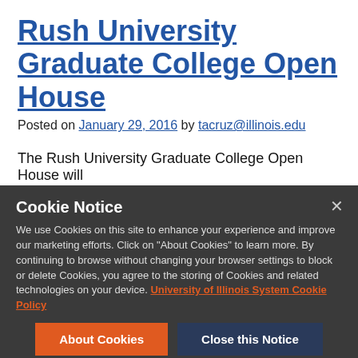Rush University Graduate College Open House
Posted on January 29, 2016 by tacruz@illinois.edu
The Rush University Graduate College Open House will
Cookie Notice
We use Cookies on this site to enhance your experience and improve our marketing efforts. Click on "About Cookies" to learn more. By continuing to browse without changing your browser settings to block or delete Cookies, you agree to the storing of Cookies and related technologies on your device. University of Illinois System Cookie Policy